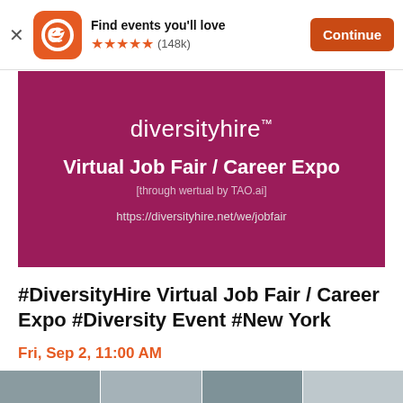Find events you'll love ★★★★★ (148k) Continue
[Figure (illustration): DiversityHire banner with magenta background showing 'diversityhire™ Virtual Job Fair / Career Expo [through wertual by TAO.ai] https://diversityhire.net/we/jobfair']
#DiversityHire Virtual Job Fair / Career Expo #Diversity Event #New York
Fri, Sep 2, 11:00 AM
New York • New York , NY